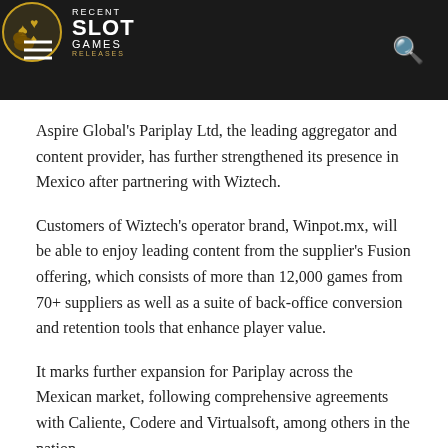Recent Slot Games Releases
Aspire Global's Pariplay Ltd, the leading aggregator and content provider, has further strengthened its presence in Mexico after partnering with Wiztech.
Customers of Wiztech's operator brand, Winpot.mx, will be able to enjoy leading content from the supplier's Fusion offering, which consists of more than 12,000 games from 70+ suppliers as well as a suite of back-office conversion and retention tools that enhance player value.
It marks further expansion for Pariplay across the Mexican market, following comprehensive agreements with Caliente, Codere and Virtualsoft, among others in the nation.
Pariplay has maintained an impressive growth trajectory across Latin America, with its aggregation platform gathering…